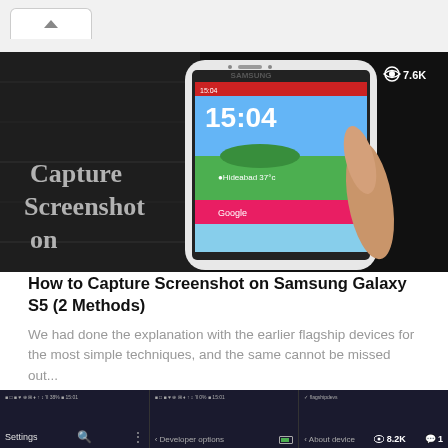[Figure (screenshot): Browser UI tab bar with up chevron icon on a light gray background]
[Figure (screenshot): Thumbnail image showing a Samsung Galaxy S5 smartphone with the screen displaying 15:04 time and Hideabad 37°C weather. Text overlay on left reads 'Capture Screenshot on'. Eye icon with '7.6K' views count in top right corner. Dark background.]
How to Capture Screenshot on Samsung Galaxy S5 (2 Methods)
We had done the explanation with the earlier flagship devices for the most simple techniques, and the same cannot be missed out...
[Figure (screenshot): Bottom strip showing three sections of a mobile browser interface: Settings with search and menu icons, Developer options section with battery indicator highlighted, and About device section with 8.2K views and 1 comment]